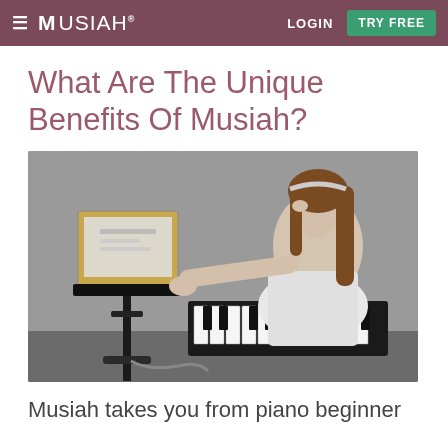≡ MUSIAH® LOGIN TRY FREE
What Are The Unique Benefits Of Musiah?
[Figure (photo): A young girl with long brown hair and a headband sits at a keyboard/piano, reaching forward to touch a laptop screen. She is wearing a white sleeveless dress. The background is grey.]
Musiah takes you from piano beginner